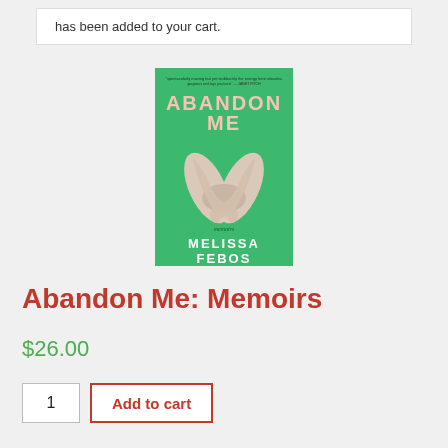has been added to your cart.
[Figure (illustration): Book cover of 'Abandon Me: Memoirs' by Melissa Febos. Green background with large pink text 'ABANDON ME' at top, crossed arms image in center, 'memoirs' in small text, and 'MELISSA FEBOS' in white at bottom.]
Abandon Me: Memoirs
$26.00
1   Add to cart